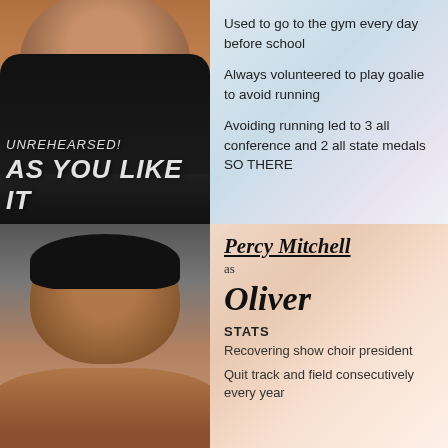[Figure (photo): Headshot of a woman wearing a black leather jacket, smiling, with overlaid text 'UNREHEARSED! AS YOU LIKE IT']
Used to go to the gym every day before school

Always volunteered to play goalie to avoid running

Avoiding running led to 3 all conference and 2 all state medals SO THERE
[Figure (photo): Headshot of a young Black man with short hair, looking directly at the camera, against a grey/warm background]
Percy Mitchell as Oliver

STATS
Recovering show choir president

Quit track and field consecutively every year